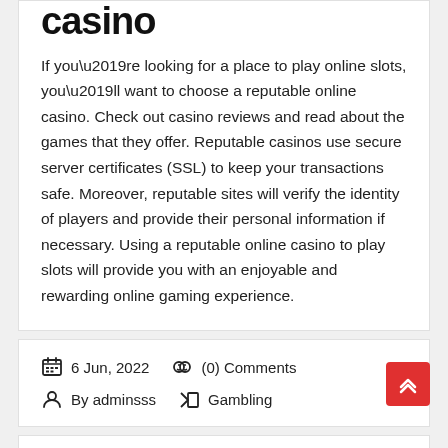casino
If you’re looking for a place to play online slots, you’ll want to choose a reputable online casino. Check out casino reviews and read about the games that they offer. Reputable casinos use secure server certificates (SSL) to keep your transactions safe. Moreover, reputable sites will verify the identity of players and provide their personal information if necessary. Using a reputable online casino to play slots will provide you with an enjoyable and rewarding online gaming experience.
6 Jun, 2022   (0) Comments
By adminsss   Gambling